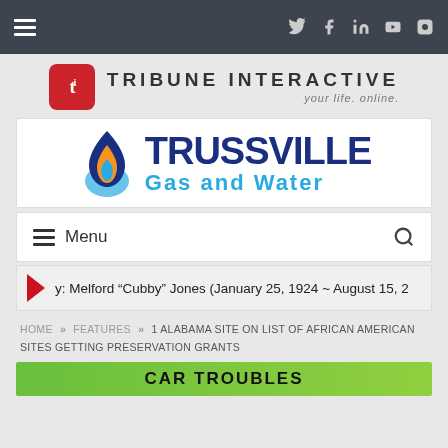Tribune Interactive navigation bar with hamburger menu and social icons (Twitter, Facebook, LinkedIn, YouTube, Instagram)
[Figure (logo): Tribune Interactive logo: red square icon with 'ti' and text 'TRIBUNE INTERACTIVE / your life. online.']
[Figure (logo): Trussville Gas and Water logo with flame/water droplet icon and bold blue/cyan text]
Menu
y: Melford “Cubby” Jones (January 25, 1924 ~ August 15, 2
HOME » FEATURES » 1 ALABAMA SITE ON LIST OF AFRICAN AMERICAN SITES GETTING PRESERVATION GRANTS
[Figure (other): Bottom banner advertisement with green background, partially visible text 'CAR TROUBLES']